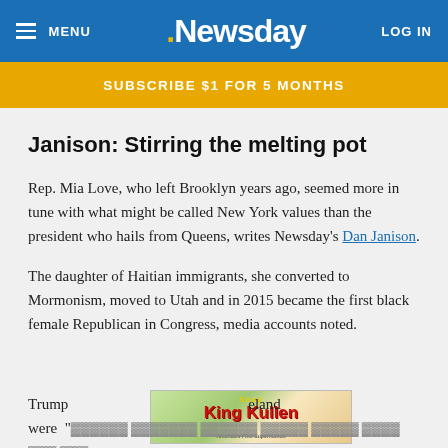MENU | Newsday | LOG IN
SUBSCRIBE $1 FOR 5 MONTHS
Janison: Stirring the melting pot
Rep. Mia Love, who left Brooklyn years ago, seemed more in tune with what might be called New York values than the president who hails from Queens, writes Newsday's Dan Janison.
The daughter of Haitian immigrants, she converted to Mormonism, moved to Utah and in 2015 became the first black female Republican in Congress, media accounts noted.
[Figure (other): Shop King Kullen advertisement banner - America's First Supermarket]
Trump... eland were "...